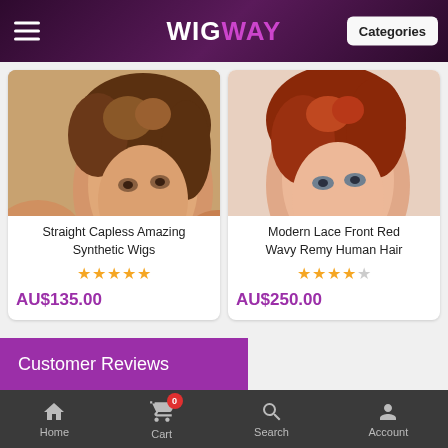WIGWAY — Categories
[Figure (screenshot): Product card for Straight Capless Amazing Synthetic Wigs showing model with short brown hair, 4.5 star rating, price AU$135.00]
Straight Capless Amazing Synthetic Wigs
AU$135.00
[Figure (screenshot): Product card for Modern Lace Front Red Wavy Remy Human Hair showing model with short auburn/red hair, 4 star rating, price AU$250.00]
Modern Lace Front Red Wavy Remy Human Hair
AU$250.00
Customer Reviews
Home  Cart  Search  Account